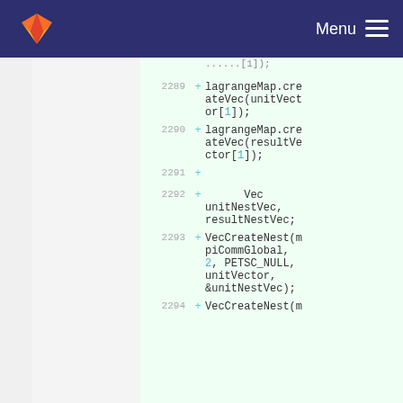GitLab Menu
[Figure (screenshot): Code diff view showing added lines 2289-2294 with lagrangeMap.createVec and VecCreateNest calls in a GitLab repository diff interface]
2289 + lagrangeMap.createVec(unitVector[1]);
2290 + lagrangeMap.createVec(resultVector[1]);
2291 +
2292 +       Vec unitNestVec, resultNestVec;
2293 + VecCreateNest(mpiCommGlobal, 2, PETSC_NULL, unitVector, &unitNestVec);
2294 + VecCreateNest(m